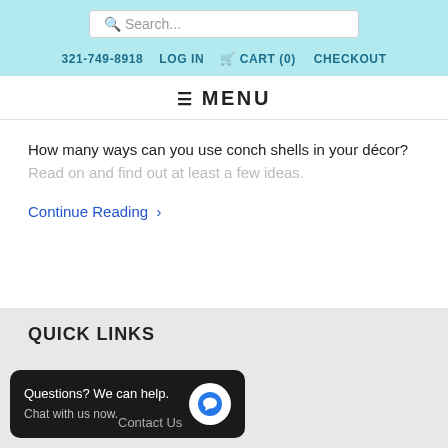Search... 321-749-8918 LOG IN CART (0) CHECKOUT
≡ MENU
How many ways can you use conch shells in your décor? Read on and find out at least a few ideas.
Continue Reading >
QUICK LINKS
Questions? We can help. Chat with us now.
Contact Us